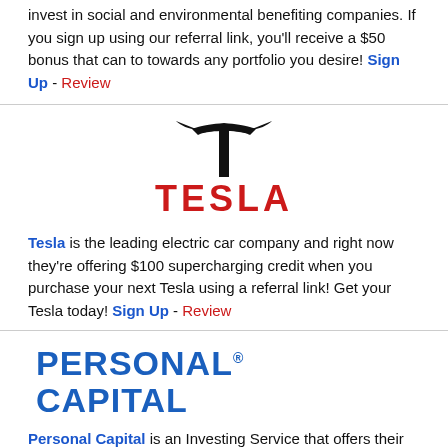invest in social and environmental benefiting companies. If you sign up using our referral link, you'll receive a $50 bonus that can to towards any portfolio you desire! Sign Up - Review
[Figure (logo): Tesla logo: Tesla 'T' icon above the word TESLA in red block letters]
Tesla is the leading electric car company and right now they're offering $100 supercharging credit when you purchase your next Tesla using a referral link! Get your Tesla today! Sign Up - Review
[Figure (logo): Personal Capital logo in large blue bold letters: PERSONAL CAPITAL]
Personal Capital is an Investing Service that offers their customers a combination of Robo-Advisor Algorithms and Human advisors to get the best results. If you sign up using our referral link, you'll receive a $20 bonus! Sign Up - Review
[Figure (logo): Silvercar logo: circular icon with car silhouette and SILVERCAR text]